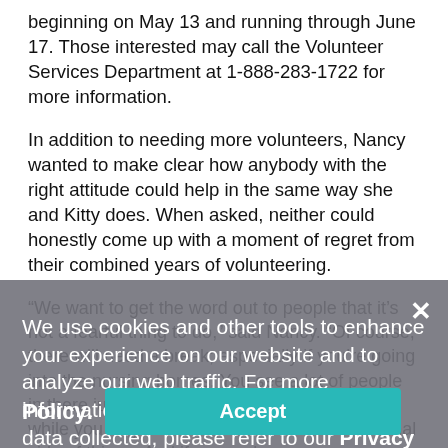beginning on May 13 and running through June 17. Those interested may call the Volunteer Services Department at 1-888-283-1722 for more information.
In addition to needing more volunteers, Nancy wanted to make clear how anybody with the right attitude could help in the same way she and Kitty does. When asked, neither could honestly come up with a moment of regret from their combined years of volunteering.
“We want to get the word out to people that it’s not a fearful thing to do,” said Nancy. “Of course, there will need a break; especially if you’re going into the nursing homes. You see a lot of people in there just sitting and wanting to die. After a while you might need a break from the emotional side of things. And if you go b…
Most important to Nancy and Kitty is putting in the effort so that somebody on their deathbed doesn’t feel alone or scared as they pass into the void. Nancy summed up the…
We use cookies and other tools to enhance your experience on our website and to analyze our web traffic. For more information about these cookies and the data collected, please refer to our Privacy Policy.
Accept